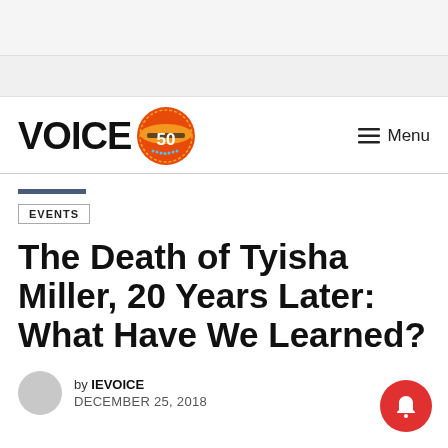[Figure (other): Top advertisement banner area (light gray)]
[Figure (logo): Voice 50 logo with orange/red circular badge showing '50']
≡ Menu
EVENTS
The Death of Tyisha Miller, 20 Years Later: What Have We Learned?
by IEVOICE
DECEMBER 25, 2018